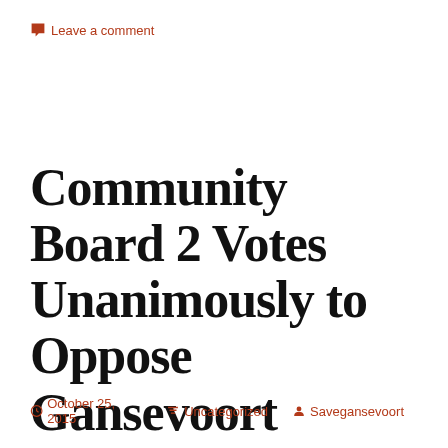Leave a comment
Community Board 2 Votes Unanimously to Oppose Gansevoort Development
October 25, 2015   Uncategorized   Savegansevoort